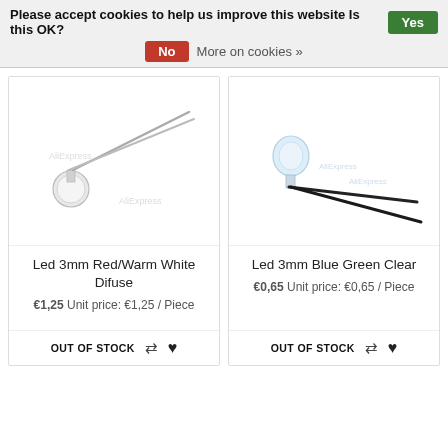Please accept cookies to help us improve this website Is this OK? Yes No More on cookies »
[Figure (photo): LED 3mm Red/Warm White Difuse component with long metal leads against white background]
Led 3mm Red/Warm White Difuse
€1,25 Unit price: €1,25 / Piece
OUT OF STOCK
[Figure (photo): LED 3mm Blue Green Clear component with black leads against white background]
Led 3mm Blue Green Clear
€0,65 Unit price: €0,65 / Piece
OUT OF STOCK